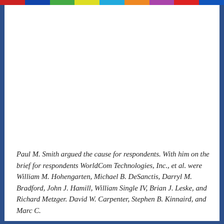Paul M. Smith argued the cause for respondents. With him on the brief for respondents WorldCom Technologies, Inc., et al. were William M. Hohengarten, Michael B. DeSanctis, Darryl M. Bradford, John J. Hamill, William Single IV, Brian J. Leske, and Richard Metzger. David W. Carpenter, Stephen B. Kinnaird, and Marc C.